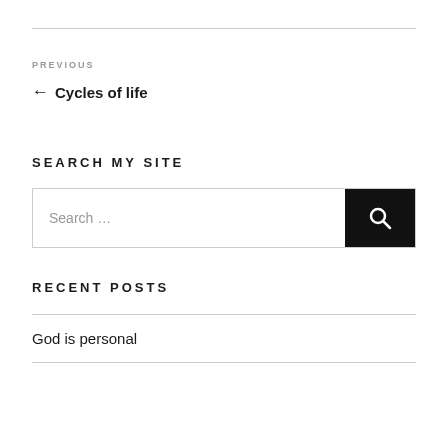PREVIOUS
← Cycles of life
SEARCH MY SITE
[Figure (other): Search input box with search button]
RECENT POSTS
God is personal